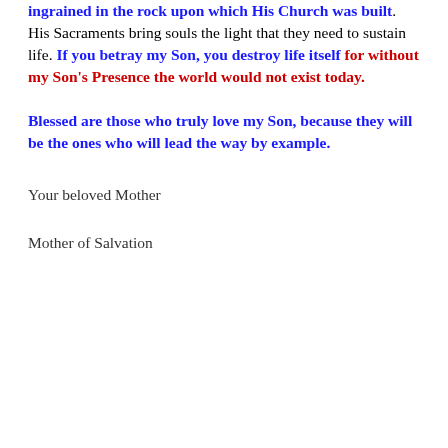ingrained in the rock upon which His Church was built. His Sacraments bring souls the light that they need to sustain life. If you betray my Son, you destroy life itself for without my Son's Presence the world would not exist today.
Blessed are those who truly love my Son, because they will be the ones who will lead the way by example.
Your beloved Mother
Mother of Salvation